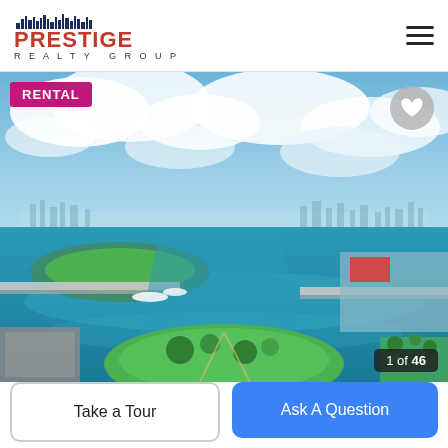PRESTIGE REALTY GROUP
[Figure (photo): Aerial view of Miami waterway with islands, bridges, and city skyline in the background under a partly cloudy sky]
RENTAL
1 of 46
Take a Tour
Ask A Question